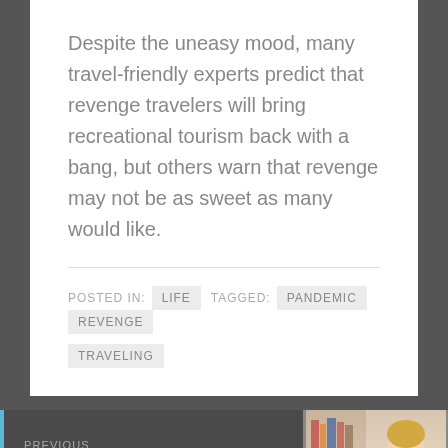Despite the uneasy mood, many travel-friendly experts predict that revenge travelers will bring recreational tourism back with a bang, but others warn that revenge may not be as sweet as many would like.
POSTED IN: LIFE  TAGGED: PANDEMIC  REVENGE  TRAVELING
PREVIOUS
Why We All Need Goals in Our Lives
MARCH 16, 2021
[Figure (photo): Partial photo showing a person (woman with blonde hair, white shirt) holding something, with shelves in background]